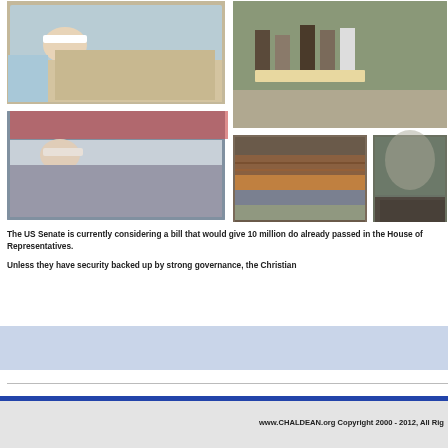[Figure (photo): Collage of five photos showing victims of violence: injured people on hospital beds, people carrying stretchers, piles of belongings, and destroyed structures with smoke]
The US Senate is currently considering a bill that would give 10 million do already passed in the House of Representatives.
Unless they have security backed up by strong governance, the Christian
www.CHALDEAN.org Copyright 2000 - 2012, All Rig